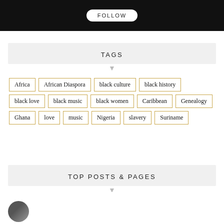[Figure (screenshot): Black header bar with a white pill-shaped FOLLOW button]
TAGS
Africa
African Diaspora
black culture
black history
black love
black music
black women
Caribbean
Genealogy
Ghana
love
music
Nigeria
slavery
Suriname
TOP POSTS & PAGES
[Figure (photo): Small circular profile photo thumbnail at bottom left]